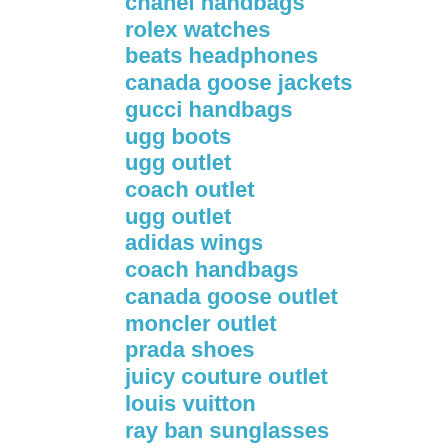chanel handbags
rolex watches
beats headphones
canada goose jackets
gucci handbags
ugg boots
ugg outlet
coach outlet
ugg outlet
adidas wings
coach handbags
canada goose outlet
moncler outlet
prada shoes
juicy couture outlet
louis vuitton
ray ban sunglasses
calvin klein underwear
longchamp handbags
the north face outlet
true religion jeans
jordan shoes
the north face uk